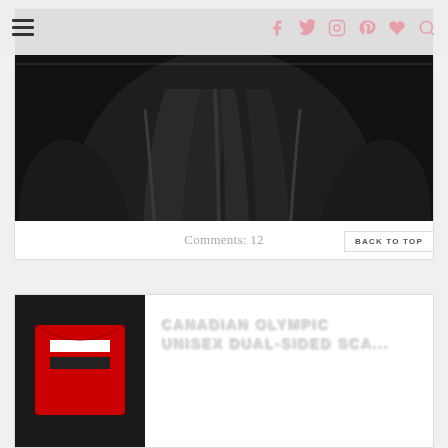Navigation bar with hamburger menu and social icons (Facebook, Twitter, Instagram, Pinterest, Heart, Search)
[Figure (photo): A black draped knit top or sweater photographed on a white background, with long sleeves and gathered fabric creating draping folds at the front.]
Comments: 12
CANADIAN OLYMPIC UNISEX DUAL-SIDED SCA...
[Figure (photo): Partial view of what appears to be a Canadian Olympic unisex dual-sided scarf, showing red, white, and black colors.]
BACK TO TOP